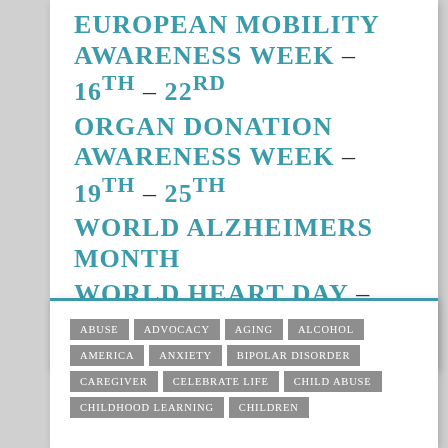EUROPEAN MOBILITY AWARENESS WEEK – 16th – 22rd
ORGAN DONATION AWARENESS WEEK – 19th – 25th
WORLD ALZHEIMERS MONTH
WORLD HEART DAY – 29th
ABUSE ADVOCACY AGING ALCOHOL AMERICA ANXIETY BIPOLAR DISORDER CAREGIVER CELEBRATE LIFE CHILD ABUSE CHILDHOOD LEARNING CHILDREN